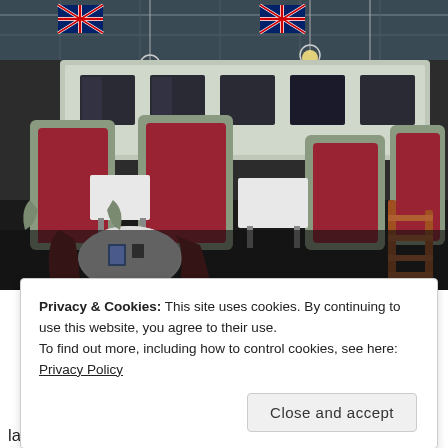[Figure (photo): Interior of a railway/museum venue styled as a vintage train carriage dining area. Red upholstered booths with sage green frames are arranged in rows. Round white marble tables and dark wooden chairs are visible in the foreground. Union Jack flags hang from the ceiling, and vintage train carriages are visible in the background. Pendant lights illuminate the space.]
Privacy & Cookies: This site uses cookies. By continuing to use this website, you agree to their use.
To find out more, including how to control cookies, see here: Privacy Policy
Close and accept
laid out as if we were traveling in one of the historic